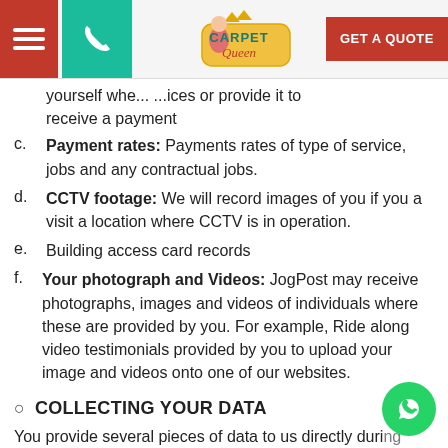[Figure (screenshot): Website navigation bar with hamburger menu (red), phone icon (teal), Carpet Queen logo in center, and red GET A QUOTE button on the right]
yourself when you purchase services or provide it to receive a payment
Payment rates: Payments rates of type of service, jobs and any contractual jobs.
CCTV footage: We will record images of you if you a visit a location where CCTV is in operation.
Building access card records
Your photograph and Videos: JogPost may receive photographs, images and videos of individuals where these are provided by you. For example, Ride along video testimonials provided by you to upload your image and videos onto one of our websites.
COLLECTING YOUR DATA
You provide several pieces of data to us directly during